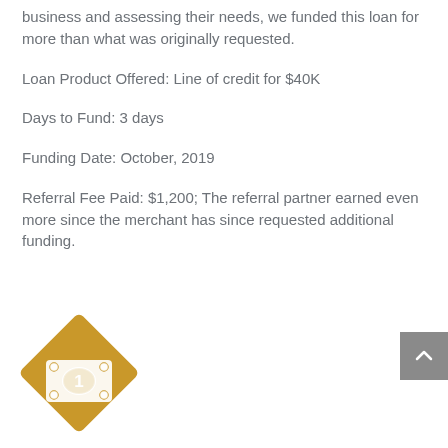business and assessing their needs, we funded this loan for more than what was originally requested.
Loan Product Offered: Line of credit for $40K
Days to Fund: 3 days
Funding Date: October, 2019
Referral Fee Paid: $1,200; The referral partner earned even more since the merchant has since requested additional funding.
[Figure (illustration): Gold diamond-shaped badge icon with a dollar bill graphic and the number 1 on it]